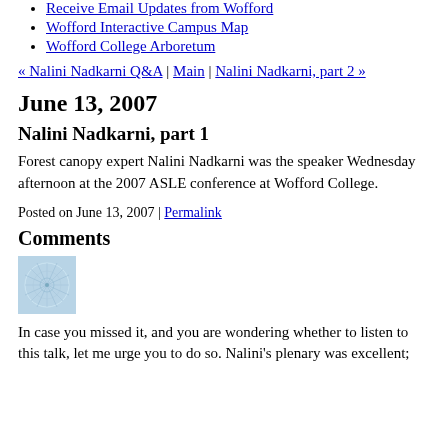Receive Email Updates from Wofford
Wofford Interactive Campus Map
Wofford College Arboretum
« Nalini Nadkarni Q&A | Main | Nalini Nadkarni, part 2 »
June 13, 2007
Nalini Nadkarni, part 1
Forest canopy expert Nalini Nadkarni was the speaker Wednesday afternoon at the 2007 ASLE conference at Wofford College.
Posted on June 13, 2007 | Permalink
Comments
[Figure (illustration): Small square avatar image with blue/teal network pattern on white background]
In case you missed it, and you are wondering whether to listen to this talk, let me urge you to do so. Nalini's plenary was excellent;